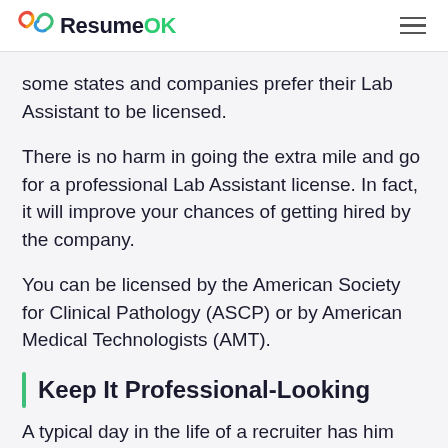ResumeOK
some states and companies prefer their Lab Assistant to be licensed.
There is no harm in going the extra mile and go for a professional Lab Assistant license. In fact, it will improve your chances of getting hired by the company.
You can be licensed by the American Society for Clinical Pathology (ASCP) or by American Medical Technologists (AMT).
Keep It Professional-Looking
A typical day in the life of a recruiter has him